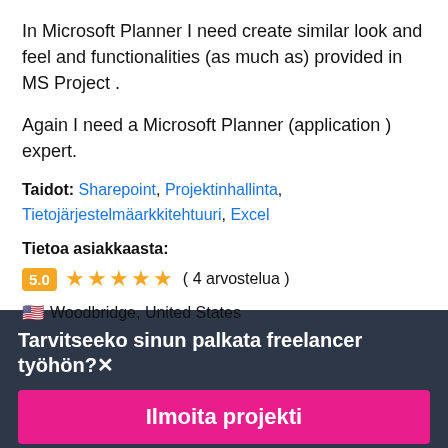In Microsoft Planner I need create similar look and feel and functionalities (as much as) provided in MS Project .
Again I need a Microsoft Planner (application ) expert.
Taidot: Sharepoint, Projektinhallinta, Tietojärjestelmäarkkitehtuuri, Excel
Tietoa asiakkaasta:
5.0 ★★★★★ ( 4 arvostelua )
🇺🇸 Woodbridge, United States
Tarvitseeko sinun palkata freelancer työhön?✕
Ilmoita projekti